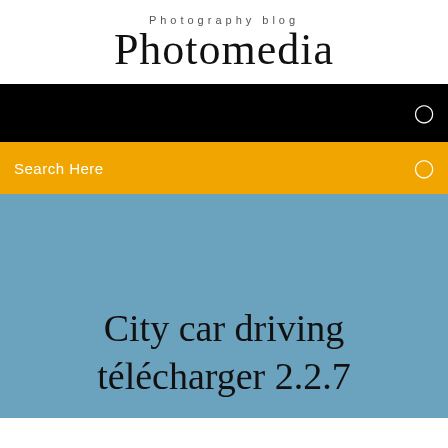Photography blog
Photomedia
[Figure (screenshot): Black navigation bar with a small icon on the right]
[Figure (screenshot): Yellow/amber search bar with 'Search Here' text on left and icon on right]
City car driving télécharger 2.2.7